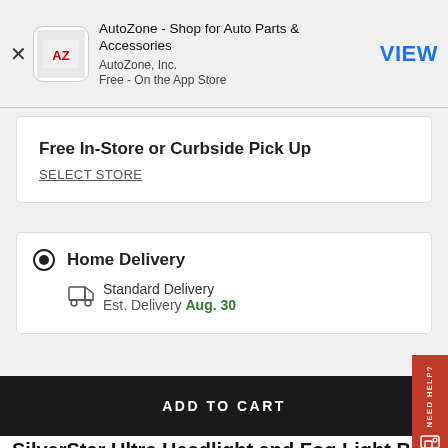[Figure (screenshot): AutoZone app store banner with AZ logo icon, app title, publisher name, price, and VIEW button]
Free In-Store or Curbside Pick Up
SELECT STORE
Home Delivery
Standard Delivery
Est. Delivery Aug. 30
ADD TO CART
NEED HELP?
SilverStar Ultra Headlight and Fog Light Bulb H13SU-2